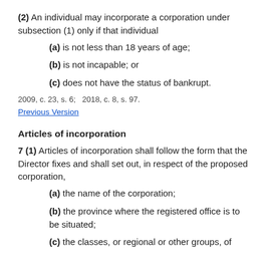(2) An individual may incorporate a corporation under subsection (1) only if that individual
(a) is not less than 18 years of age;
(b) is not incapable; or
(c) does not have the status of bankrupt.
2009, c. 23, s. 6;   2018, c. 8, s. 97.
Previous Version
Articles of incorporation
7 (1) Articles of incorporation shall follow the form that the Director fixes and shall set out, in respect of the proposed corporation,
(a) the name of the corporation;
(b) the province where the registered office is to be situated;
(c) the classes, or regional or other groups, of